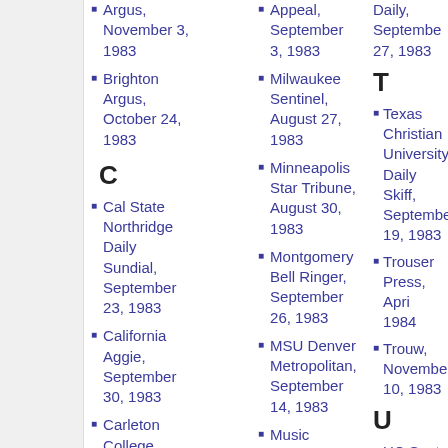Argus, November 3, 1983
Brighton Argus, October 24, 1983
C
Cal State Northridge Daily Sundial, September 23, 1983
California Aggie, September 30, 1983
Carleton College Carletonian, September 22, 1983
Appeal, September 3, 1983
Milwaukee Sentinel, August 27, 1983
Minneapolis Star Tribune, August 30, 1983
Montgomery Bell Ringer, September 26, 1983
MSU Denver Metropolitan, September 14, 1983
Music Connection, October 13, 1983
Music Week
Daily, September 27, 1983
T
Texas Christian University Daily Skiff, September 19, 1983
Trouser Press, April 1984
Trouw, November 10, 1983
U
UC Santa Barbara Daily Nexus, September